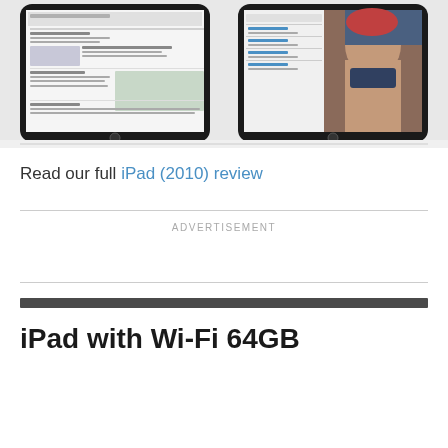[Figure (photo): Two iPad tablets shown side by side. Left iPad displays a web browser with a news article about Europe. Right iPad displays a video call/FaceTime application showing a woman wearing a red hat and scarf.]
Read our full iPad (2010) review
ADVERTISEMENT
iPad with Wi-Fi 64GB